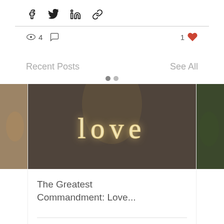[Figure (screenshot): Social share icons: Facebook, Twitter, LinkedIn, Link]
[Figure (infographic): Stats bar: 4 views, comment icon, 1 like (heart)]
Recent Posts
See All
[Figure (screenshot): Blog post card with neon 'love' sign image, title 'The Greatest Commandment: Love...', 11 views, 0 comments, heart icon]